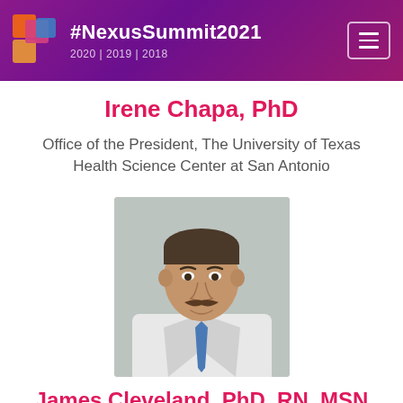#NexusSummit2021  2020 | 2019 | 2018
Irene Chapa, PhD
Office of the President, The University of Texas Health Science Center at San Antonio
[Figure (photo): Professional headshot of James Cleveland, PhD, RN, MSN — a middle-aged man with a mustache wearing a white lab coat and blue tie, photographed with a blurred laboratory background]
James Cleveland, PhD, RN, MSN